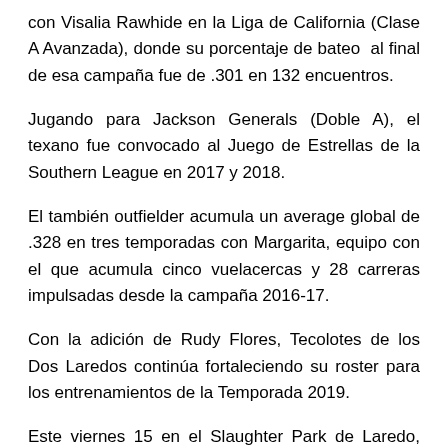con Visalia Rawhide en la Liga de California (Clase A Avanzada), donde su porcentaje de bateo al final de esa campaña fue de .301 en 132 encuentros.
Jugando para Jackson Generals (Doble A), el texano fue convocado al Juego de Estrellas de la Southern League en 2017 y 2018.
El también outfielder acumula un average global de .328 en tres temporadas con Margarita, equipo con el que acumula cinco vuelacercas y 28 carreras impulsadas desde la campaña 2016-17.
Con la adición de Rudy Flores, Tecolotes de los Dos Laredos continúa fortaleciendo su roster para los entrenamientos de la Temporada 2019.
Este viernes 15 en el Slaughter Park de Laredo, Texas, Tecolotes de los